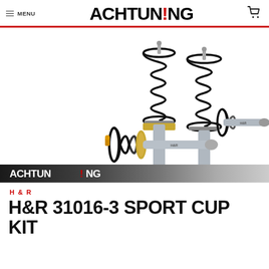MENU | ACHTUNING | [cart icon]
[Figure (photo): H&R Sport Cup Kit coilover suspension set showing 4 coilover struts with black coil springs and silver shock absorber bodies, arranged on white background with Achtuning logo banner at bottom]
H & R
H&R 31016-3 SPORT CUP KIT